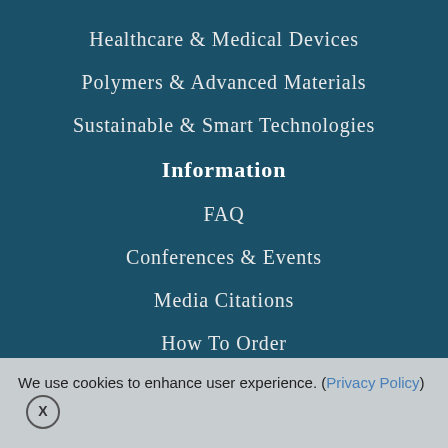Healthcare & Medical Devices
Polymers & Advanced Materials
Sustainable & Smart Technologies
Information
FAQ
Conferences & Events
Media Citations
How To Order
Corporate Presentation
We use cookies to enhance user experience. (Privacy Policy) X